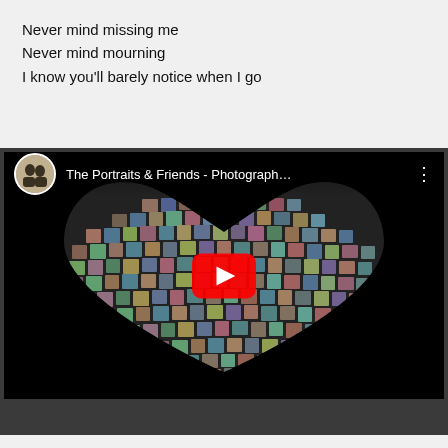Never mind missing me
Never mind mourning
I know you'll barely notice when I go
[Figure (screenshot): YouTube video thumbnail showing 'The Portraits & Friends - Photograph...' with a heart shape made of many small photos on a black background, and a red YouTube play button in the center.]